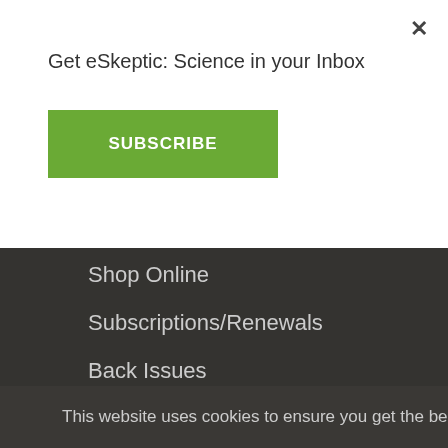Get eSkeptic: Science in your Inbox
SUBSCRIBE
×
Shop Online
Subscriptions/Renewals
Back Issues
This website uses cookies to ensure you get the best experience on our website. Learn more.
GOT IT!